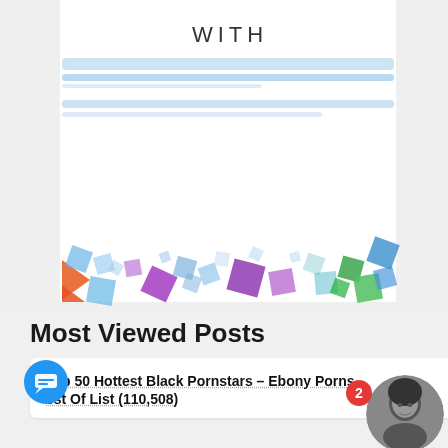[Figure (illustration): Decorative banner with 'WITH' text, horizontal speed/blur lines in light blue, and a mosaic of colorful geometric triangles and squares along the bottom (blue, orange, purple, green, teal colors)]
Most Viewed Posts
Top 50 Hottest Black Pornstars – Ebony Porns... est Of List (110,508)
[Figure (photo): Black and white circular avatar photo of a woman]
[Figure (illustration): Blue circular chat bubble icon (messaging button)]
2 (notification badge)